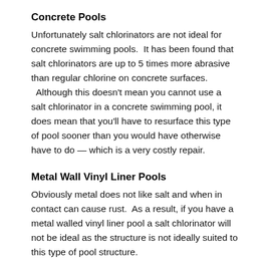Concrete Pools
Unfortunately salt chlorinators are not ideal for concrete swimming pools.  It has been found that salt chlorinators are up to 5 times more abrasive than regular chlorine on concrete surfaces.  Although this doesn't mean you cannot use a salt chlorinator in a concrete swimming pool, it does mean that you'll have to resurface this type of pool sooner than you would have otherwise have to do — which is a very costly repair.
Metal Wall Vinyl Liner Pools
Obviously metal does not like salt and when in contact can cause rust.  As a result, if you have a metal walled vinyl liner pool a salt chlorinator will not be ideal as the structure is not ideally suited to this type of pool structure.